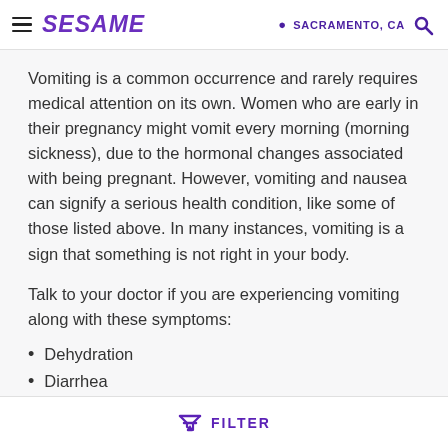SESAME | SACRAMENTO, CA
Vomiting is a common occurrence and rarely requires medical attention on its own. Women who are early in their pregnancy might vomit every morning (morning sickness), due to the hormonal changes associated with being pregnant. However, vomiting and nausea can signify a serious health condition, like some of those listed above. In many instances, vomiting is a sign that something is not right in your body.
Talk to your doctor if you are experiencing vomiting along with these symptoms:
Dehydration
Diarrhea
Blood in the vomit
Confusion and fatigue
FILTER